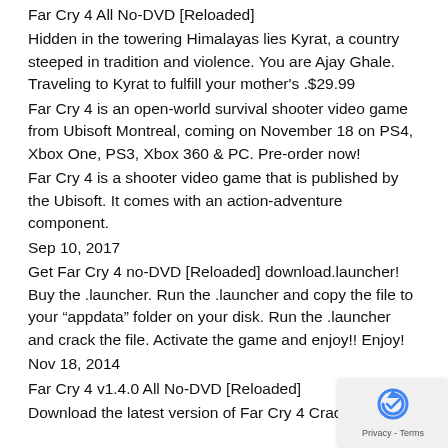Far Cry 4 All No-DVD [Reloaded]
Hidden in the towering Himalayas lies Kyrat, a country steeped in tradition and violence. You are Ajay Ghale. Traveling to Kyrat to fulfill your mother’s .$29.99
Far Cry 4 is an open-world survival shooter video game from Ubisoft Montreal, coming on November 18 on PS4, Xbox One, PS3, Xbox 360 & PC. Pre-order now!
Far Cry 4 is a shooter video game that is published by the Ubisoft. It comes with an action-adventure component.
Sep 10, 2017
Get Far Cry 4 no-DVD [Reloaded] download.launcher! Buy the .launcher. Run the .launcher and copy the file to your “appdata” folder on your disk. Run the .launcher and crack the file. Activate the game and enjoy!! Enjoy!
Nov 18, 2014
Far Cry 4 v1.4.0 All No-DVD [Reloaded]
Download the latest version of Far Cry 4 Crack with the